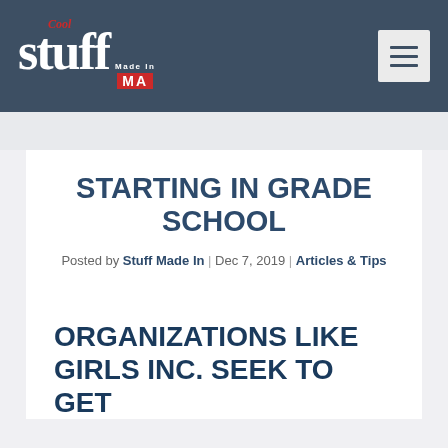Cool Stuff Made In MA
STARTING IN GRADE SCHOOL
Posted by Stuff Made In | Dec 7, 2019 | Articles & Tips
ORGANIZATIONS LIKE GIRLS INC. SEEK TO GET